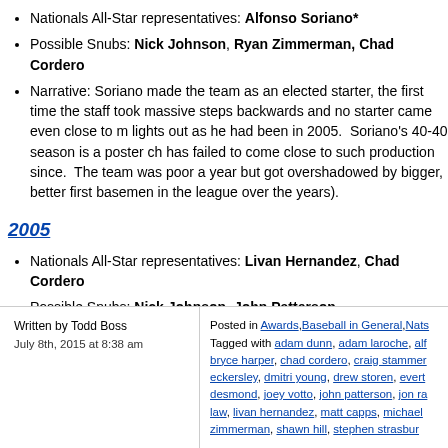Nationals All-Star representatives: Alfonso Soriano*
Possible Snubs: Nick Johnson, Ryan Zimmerman, Chad Cordero
Narrative: Soriano made the team as an elected starter, the first time the staff took massive steps backwards and no starter came even close to m lights out as he had been in 2005. Soriano's 40-40 season is a poster ch has failed to come close to such production since. The team was poor a year but got overshadowed by bigger, better first basemen in the league over the years).
2005
Nationals All-Star representatives: Livan Hernandez, Chad Cordero
Possible Snubs: Nick Johnson, John Patterson.
Narrative: The Nats went into the All Star break surprisingly in first place, halfway point. Should a first place team have gotten more than just two r was filled with non-stars and played far over its head to go 50-31 (as evic of the way).
Written by Todd Boss
July 8th, 2015 at 8:38 am
Posted in Awards, Baseball in General, Nats
Tagged with adam dunn, adam laroche, alf bryce harper, chad cordero, craig stammer eckersley, dmitri young, drew storen, evert desmond, joey votto, john patterson, jon ra law, livan hernandez, matt capps, michael zimmerman, shawn hill, stephen strasbur